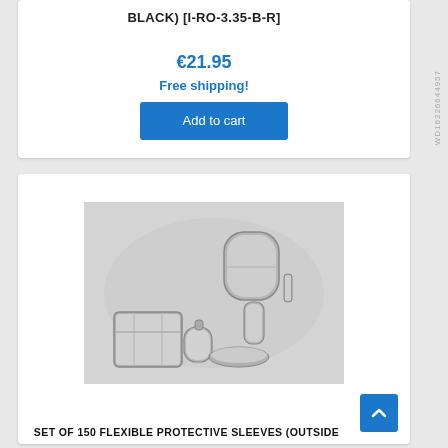BLACK) [I-RO-3.35-B-R]
€21.95
Free shipping!
Add to cart
[Figure (photo): Photo of flexible protective sleeves, clear/transparent cylindrical components of various sizes scattered on a light background]
SET OF 150 FLEXIBLE PROTECTIVE SLEEVES (OUTSIDE